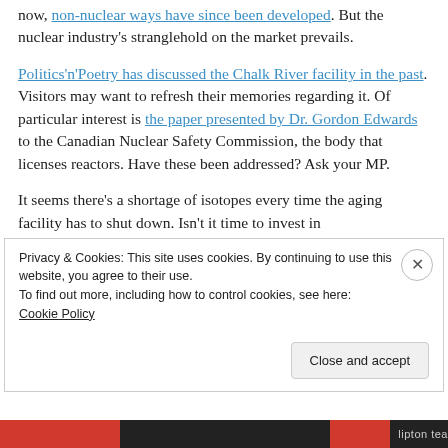now, non-nuclear ways have since been developed. But the nuclear industry's stranglehold on the market prevails.
Politics'n'Poetry has discussed the Chalk River facility in the past. Visitors may want to refresh their memories regarding it. Of particular interest is the paper presented by Dr. Gordon Edwards to the Canadian Nuclear Safety Commission, the body that licenses reactors. Have these been addressed? Ask your MP.
It seems there's a shortage of isotopes every time the aging facility has to shut down. Isn't it time to invest in
Privacy & Cookies: This site uses cookies. By continuing to use this website, you agree to their use.
To find out more, including how to control cookies, see here: Cookie Policy
Close and accept